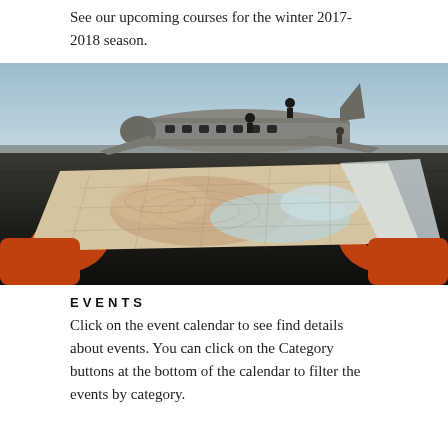See our upcoming courses for the winter 2017-2018 season.
[Figure (photo): Person in orange jacket holding a large topographic map in front of a crashed/wrecked airplane on a dark volcanic landscape. People can be seen exploring the airplane wreck in the background under a pale sky.]
EVENTS
Click on the event calendar to see find details about events. You can click on the Category buttons at the bottom of the calendar to filter the events by category.